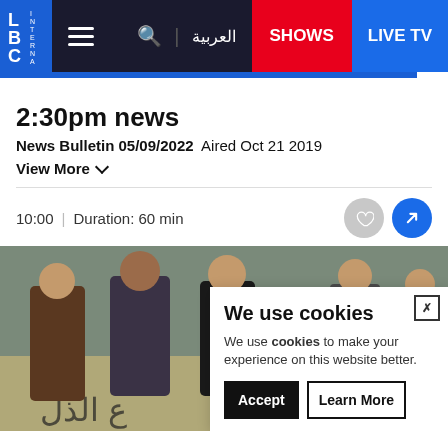LBC International | العربية | SHOWS | LIVE TV
2:30pm news
News Bulletin 05/09/2022  Aired Oct 21 2019
View More
10:00 | Duration: 60 min
[Figure (photo): Group of people standing in front of a wall with Arabic graffiti. A cookie consent popup overlays the bottom right of the image.]
We use cookies
We use cookies to make your experience on this website better.
Accept  Learn More